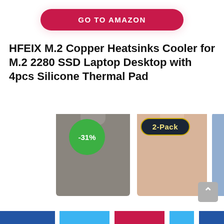[Figure (other): GO TO AMAZON button — red pill-shaped button with white bold text]
HFEIX M.2 Copper Heatsinks Cooler for M.2 2280 SSD Laptop Desktop with 4pcs Silicone Thermal Pad
[Figure (photo): Three M.2 heatsink coolers in dark gray, beige/peach, and light blue colors shown side by side. A green circle badge shows -31% discount on the left, and a dark oval badge reads '2-Pack' on the right. A gray scroll-to-top button is visible at the right edge.]